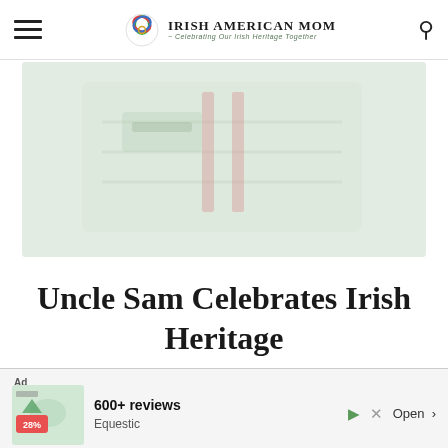Irish American Mom - Celebrating Our Irish Heritage Together
[Figure (photo): Hero image showing an Uncle Sam themed item with Irish heritage decorations, light green and festive colors, partially visible]
Uncle Sam Celebrates Irish Heritage
[Figure (infographic): Advertisement banner: Ad label, image with 28% off graphic, '600+ reviews', 'Equestic', Open button, close and play buttons]